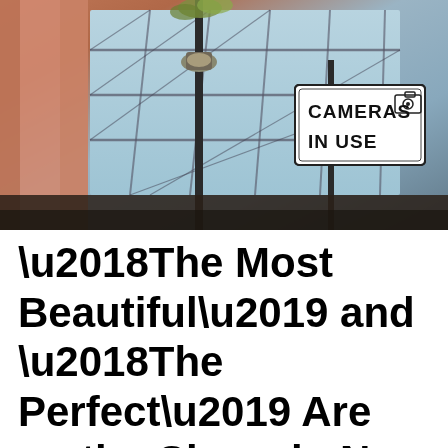[Figure (photo): Street-level upward view of an urban building with steel-framed glass skylight/ceiling structure. A lamp post is visible in the center, and a white street sign reading 'CAMERAS IN USE' with a CCTV camera icon is prominently displayed on the right side. The left edge shows a pink/salmon-colored building facade.]
‘The Most Beautiful’ and ‘The Perfect’ Are on the Churn in New York City’s First-Ever ‘Cinema of the